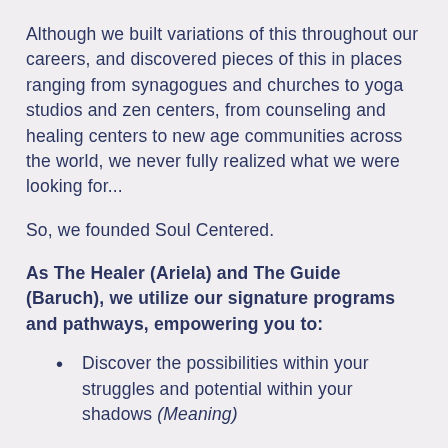Although we built variations of this throughout our careers, and discovered pieces of this in places ranging from synagogues and churches to yoga studios and zen centers, from counseling and healing centers to new age communities across the world, we never fully realized what we were looking for...
So, we founded Soul Centered.
As The Healer (Ariela) and The Guide (Baruch), we utilize our signature programs and pathways, empowering you to:
Discover the possibilities within your struggles and potential within your shadows (Meaning)